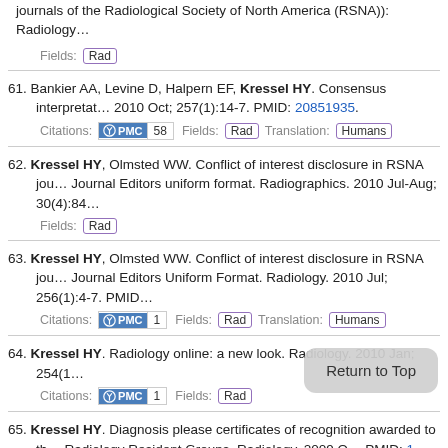journals of the Radiological Society of North America (RSNA)): Radiology…
Fields: Rad
61. Bankier AA, Levine D, Halpern EF, Kressel HY. Consensus interpretation… 2010 Oct; 257(1):14-7. PMID: 20851935.
Citations: PMC 58  Fields: Rad  Translation: Humans
62. Kressel HY, Olmsted WW. Conflict of interest disclosure in RSNA jou… Journal Editors uniform format. Radiographics. 2010 Jul-Aug; 30(4):84…
Fields: Rad
63. Kressel HY, Olmsted WW. Conflict of interest disclosure in RSNA jou… Journal Editors Uniform Format. Radiology. 2010 Jul; 256(1):4-7. PMID…
Citations: PMC 1  Fields: Rad  Translation: Humans
64. Kressel HY. Radiology online: a new look. Radiology. 2010 Jan; 254(1…
Citations: PMC 1  Fields: Rad
65. Kressel HY. Diagnosis please certificates of recognition awarded to th… Radiology Resident Groups. Radiology. 2009 O… PMID: 1…
Fields: Rad  Translation: Humans